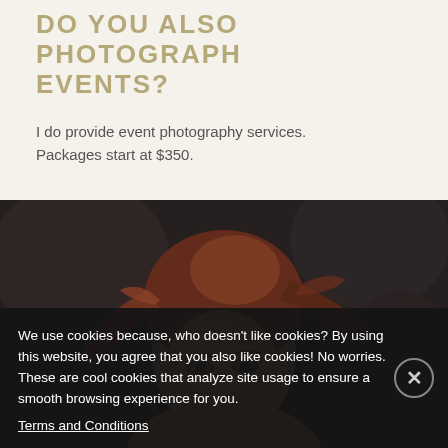DO YOU ALSO PHOTOGRAPH EVENTS?
I do provide event photography services.
Packages start at $350.
[Figure (photo): Close-up portrait of a woman with auburn/red hair, looking downward, with a dark blurred background. The photo has a moody, artistic style.]
We use cookies because, who doesn't like cookies? By using this website, you agree that you also like cookies! No worries. These are cool cookies that analyze site usage to ensure a smooth browsing experience for you.
Terms and Conditions